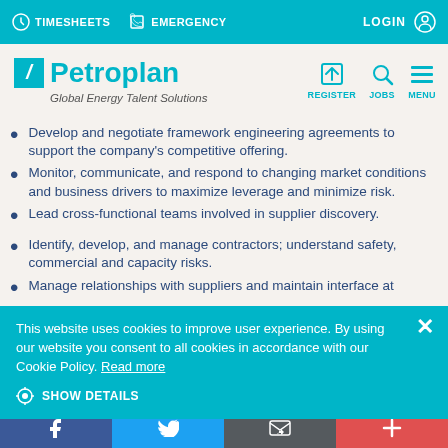TIMESHEETS  EMERGENCY  LOGIN
[Figure (logo): Petroplan logo with teal slash mark and tagline 'Global Energy Talent Solutions', with REGISTER, JOBS, MENU icons on right]
Develop and negotiate framework engineering agreements to support the company's competitive offering.
Monitor, communicate, and respond to changing market conditions and business drivers to maximize leverage and minimize risk.
Lead cross-functional teams involved in supplier discovery.
Identify, develop, and manage contractors; understand safety, commercial and capacity risks.
Manage relationships with suppliers and maintain interface at
This website uses cookies to improve user experience. By using our website you consent to all cookies in accordance with our Cookie Policy. Read more
SHOW DETAILS
Facebook  Twitter  Email  Plus